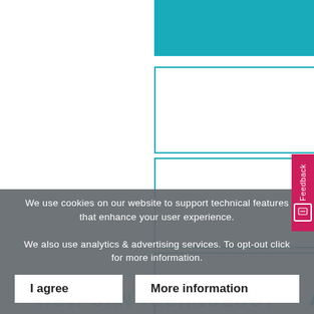About
Criteria
Benefits
Application
We use cookies on our website to support technical features that enhance your user experience.
We also use analytics & advertising services. To opt-out click for more information.
I agree
More information
HOW CAN TECHNOLOGY